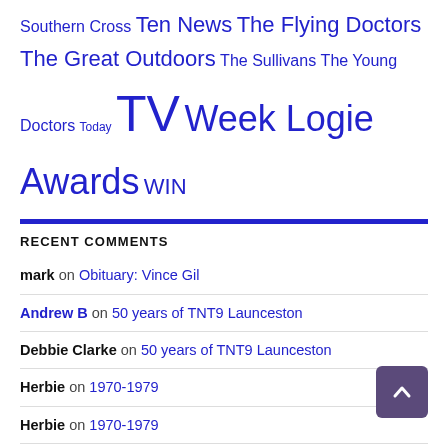Southern Cross Ten News The Flying Doctors The Great Outdoors The Sullivans The Young Doctors Today TV Week Logie Awards WIN
RECENT COMMENTS
mark on Obituary: Vince Gil
Andrew B on 50 years of TNT9 Launceston
Debbie Clarke on 50 years of TNT9 Launceston
Herbie on 1970-1979
Herbie on 1970-1979
Maura on 1960-1969
Jean on Nine launches new channel 9Rush
Jim Worthington on Obituary: John Tingle